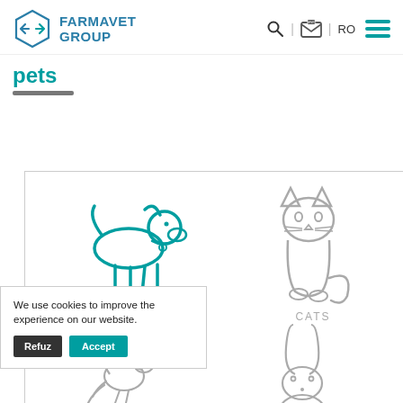FARMAVET GROUP — navigation header with logo, search, news, RO, and menu icons
pets
[Figure (illustration): Grid of pet animal icons: DOGS (teal dog outline), CATS (grey cat outline), bird outline (bottom left), rabbit outline (bottom right)]
We use cookies to improve the experience on our website.
Refuz   Accept